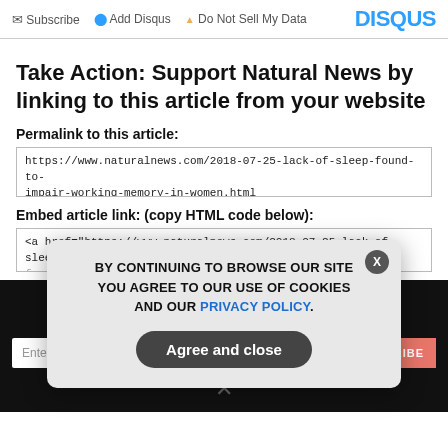Subscribe  Add Disqus  Do Not Sell My Data   DISQUS
Take Action: Support Natural News by linking to this article from your website
Permalink to this article:
https://www.naturalnews.com/2018-07-25-lack-of-sleep-found-to-impair-working-memory-in-women.html
Embed article link: (copy HTML code below):
<a href="https://www.naturalnews.com/2018-07-25-lack-of-sleep-found-to-impair-working-memory-in-women.html">Pull on all
GET THE WORLD'S BEST NATURAL HEALTH NEWSLETTER DELIVERED STRAIGHT TO YOUR INBOX
BY CONTINUING TO BROWSE OUR SITE YOU AGREE TO OUR USE OF COOKIES AND OUR PRIVACY POLICY.
Agree and close